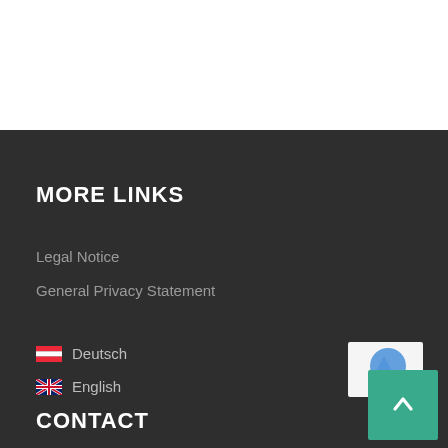MORE LINKS
Legal Notice
General Privacy Statement
🇦🇹 Deutsch
🇬🇧 English
CONTACT
[Figure (other): Scroll-to-top button (teal/green) with upward arrow, and partial reCAPTCHA logo in background]